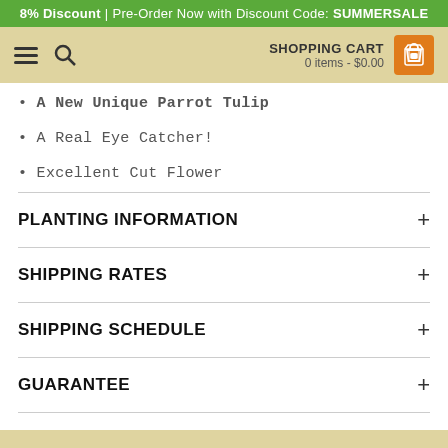8% Discount | Pre-Order Now with Discount Code: SUMMERSALE
[Figure (screenshot): Navigation bar with hamburger menu, search icon, and shopping cart showing 0 items - $0.00]
A New Unique Parrot Tulip
A Real Eye Catcher!
Excellent Cut Flower
PLANTING INFORMATION
SHIPPING RATES
SHIPPING SCHEDULE
GUARANTEE